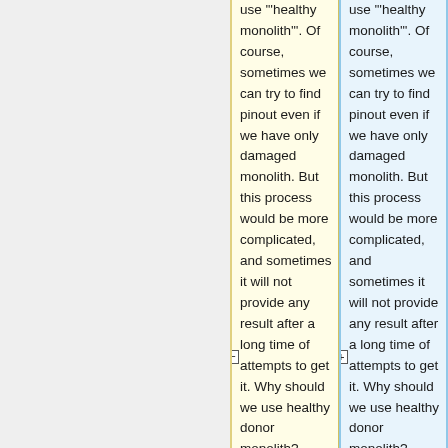use "healthy monolith". Of course, sometimes we can try to find pinout even if we have only damaged monolith. But this process would be more complicated, and sometimes it will not provide any result after a long time of attempts to get it. Why should we use healthy donor monolith? Because for detecting some bus lines and
use "healthy monolith". Of course, sometimes we can try to find pinout even if we have only damaged monolith. But this process would be more complicated, and sometimes it will not provide any result after a long time of attempts to get it. Why should we use healthy donor monolith? Because for detecting some bus lines and